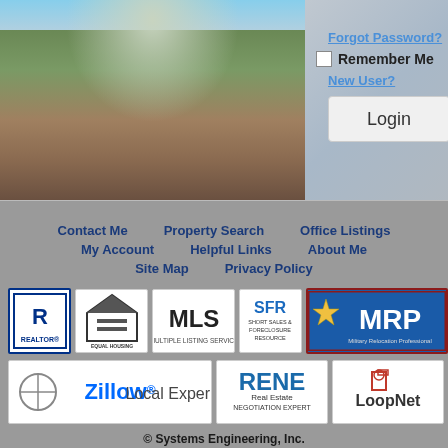[Figure (screenshot): Login form overlay on campus photo background with Forgot Password link, Remember Me checkbox, New User link, and Login button]
Forgot Password?
Remember Me
New User?
Login
Contact Me    Property Search    Office Listings
My Account    Helpful Links    About Me
Site Map    Privacy Policy
[Figure (logo): REALTOR logo]
[Figure (logo): Equal Housing Opportunity logo]
[Figure (logo): MLS Multiple Listing Service logo]
[Figure (logo): SFR Short Sales & Foreclosure Resource logo]
[Figure (logo): MRP Military Relocation Professional logo]
[Figure (logo): Zillow Local Expert logo]
[Figure (logo): RENE Real Estate Negotiation Expert logo]
[Figure (logo): LoopNet logo]
© Systems Engineering, Inc.